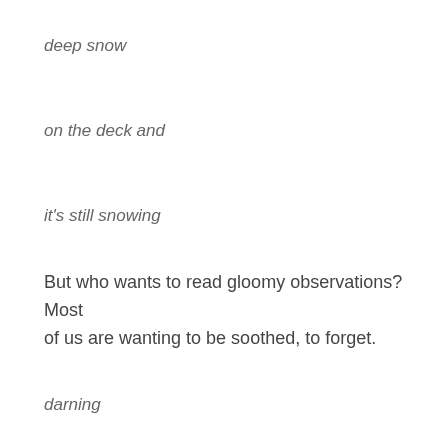deep snow
on the deck and
it's still snowing
But who wants to read gloomy observations? Most of us are wanting to be soothed, to forget.
darning
blue mittens
the colour of spring